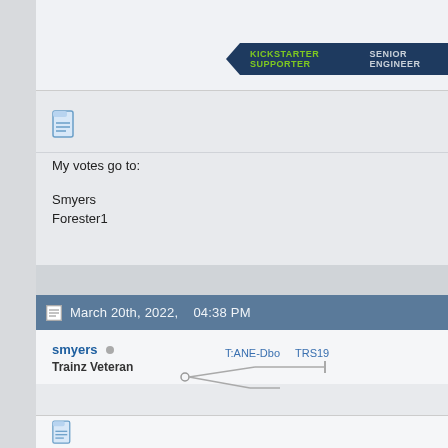KICKSTARTER SUPPORTER   SENIOR ENGINEER
[Figure (illustration): Document/post icon - blue document lines icon]
My votes go to:

Smyers
Forester1
March 20th, 2022,   04:38 PM
smyers
Trainz Veteran
[Figure (other): Track version diagram showing T:ANE-Dbo and TRS19 connected by track segment lines]
[Figure (illustration): Document/post icon - blue document lines icon]